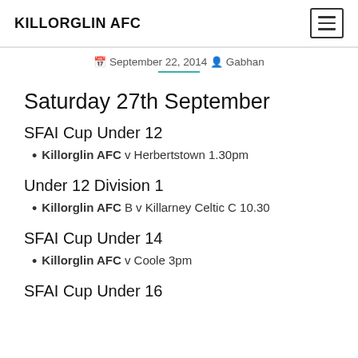KILLORGLIN AFC
September 22, 2014  Gabhan
Saturday 27th September
SFAI Cup Under 12
Killorglin AFC v Herbertstown 1.30pm
Under 12 Division 1
Killorglin AFC B v Killarney Celtic C 10.30
SFAI Cup Under 14
Killorglin AFC v Coole 3pm
SFAI Cup Under 16